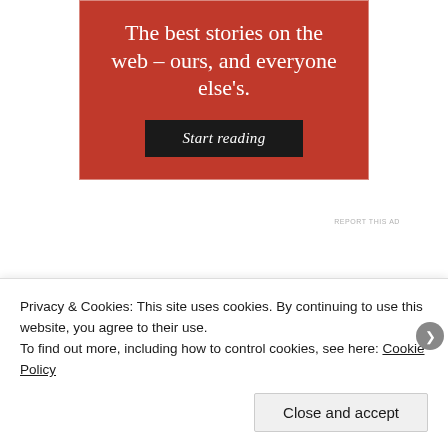[Figure (other): Red advertisement banner with white serif text reading 'The best stories on the web – ours, and everyone else's.' and a dark 'Start reading' button]
REPORT THIS AD
SHARE THIS POST:
[Figure (other): Row of social share icon circles: light blue, blue, dark blue, dark navy, red, and grey]
Privacy & Cookies: This site uses cookies. By continuing to use this website, you agree to their use.
To find out more, including how to control cookies, see here: Cookie Policy